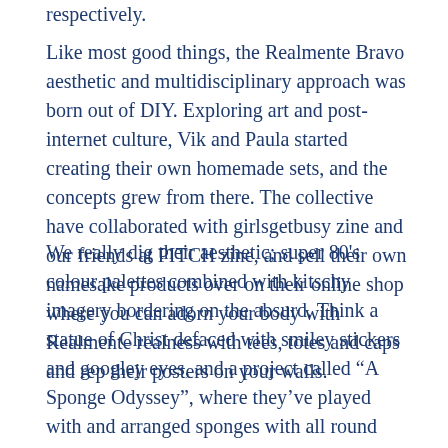respectively.
Like most good things, the Realmente Bravo aesthetic and multidisciplinary approach was born out of DIY. Exploring art and post-internet culture, Vik and Paula started creating their own homemade sets, and the concepts grew from there. The collective have collaborated with girlsgetbusy zine and our friends at PITCH zine, and sell their own namesake products over on their online shop where you can adorn your body with Realmente realness with tees, totes and caps and rep their posters on your walls.
We really dig their aesthetic; super 80's colour palettes combined with kitschy imagery bordering on the absurd. Think a statue of Christ defaced with smiley stickers and googley eyes, and a project called “A Sponge Odyssey”, where they've played with and arranged sponges with all round unexpectedly aesthetically pleasing results. All of this is definitely not without a bit of playful tongue-in-cheek, we might add. In a recent project, monolithic brand identities